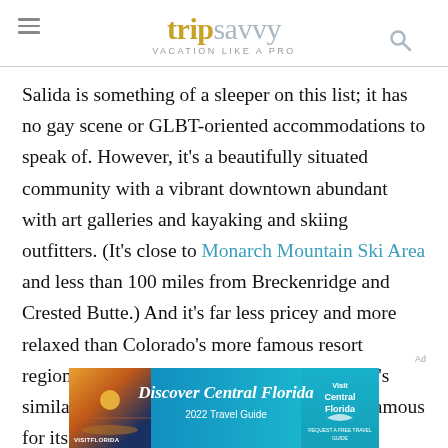tripsavvy VACATION LIKE A PRO
Salida is something of a sleeper on this list; it has no gay scene or GLBT-oriented accommodations to speak of. However, it's a beautifully situated community with a vibrant downtown abundant with art galleries and kayaking and skiing outfitters. (It's close to Monarch Mountain Ski Area and less than 100 miles from Breckenridge and Crested Butte.) And it's far less pricey and more relaxed than Colorado's more famous resort regions. Another gay-friendly small town that's similar in scope and vibe is Ouray, which is famous for its ice-
[Figure (screenshot): Advertisement banner for Discover Central Florida 2022 Travel Guide with Visit Florida and Central Florida branding]